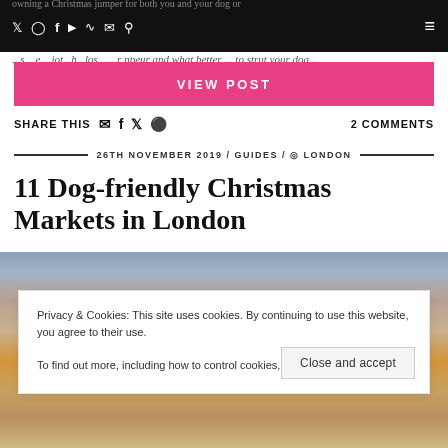owning a Christmas jumper for both you and your dog or ...s ...e ...jo...th...os... ...r npeur and what better ... to strut your dog...
[Figure (screenshot): Navigation bar with social media icons (Twitter, Instagram, Facebook, YouTube, RSS, Email, Search) and hamburger menu on black background]
[Figure (other): VIEW POST pink/magenta call-to-action button]
SHARE THIS [email] [facebook] [twitter] [pinterest]   2 COMMENTS
26TH NOVEMBER 2019 / GUIDES / ♦ LONDON
11 Dog-friendly Christmas Markets in London
[Figure (photo): Outdoor Christmas market scene with buildings in background]
Privacy & Cookies: This site uses cookies. By continuing to use this website, you agree to their use.
To find out more, including how to control cookies, see here: Cookie Policy
Close and accept